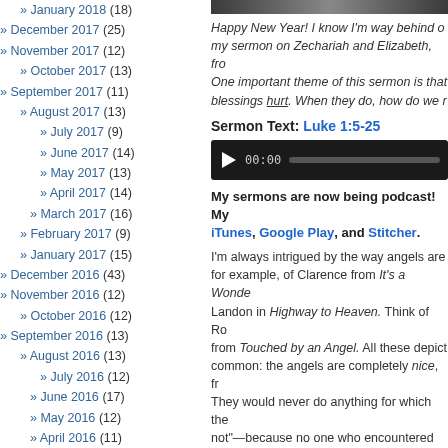» January 2018 (18)
» December 2017 (25)
» November 2017 (12)
» October 2017 (13)
» September 2017 (11)
» August 2017 (13)
» July 2017 (9)
» June 2017 (14)
» May 2017 (13)
» April 2017 (14)
» March 2017 (16)
» February 2017 (9)
» January 2017 (15)
» December 2016 (43)
» November 2016 (12)
» October 2016 (12)
» September 2016 (13)
» August 2016 (13)
» July 2016 (12)
» June 2016 (17)
» May 2016 (12)
» April 2016 (11)
» March 2016 (20)
» February 2016 (19)
» January 2016 (17)
» December 2015 (48)
» November 2015 (26)
» October 2015 (22)
» September 2015 (19)
» August 2015 (17)
» July 2015 (19)
» June 2015 (18)
» May 2015 (15)
[Figure (photo): Header image at top right]
Happy New Year! I know I'm way behind on my sermon on Zechariah and Elizabeth, from... One important theme of this sermon is that... blessings hurt. When they do, how do we r...
Sermon Text: Luke 1:5-25
[Figure (screenshot): Audio player with play button, 00:00 timestamp and progress bar]
My sermons are now being podcast! My... iTunes, Google Play, and Stitcher.
I'm always intrigued by the way angels are... for example, of Clarence from It's a Wonde... Landon in Highway to Heaven. Think of Ro... from Touched by an Angel. All these depict... common: the angels are completely nice, fr... They would never do anything for which the... not—because no one who encountered the... And what's the deal with those cherubs—th... in paintings and on Hallmark cards this time...
[Figure (photo): Black and white photo at bottom right]